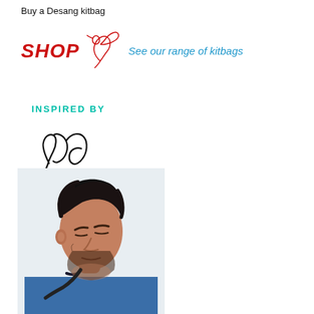Buy a Desang kitbag
[Figure (logo): Desang SHOP logo with hummingbird graphic in red and 'See our range of kitbags' link text in blue]
INSPIRED BY
[Figure (illustration): Handwritten cursive signature reading 'Rob' in dark ink]
[Figure (photo): Photo of a man with dark hair and beard looking down, wearing a blue jacket, cropped from shoulders up]